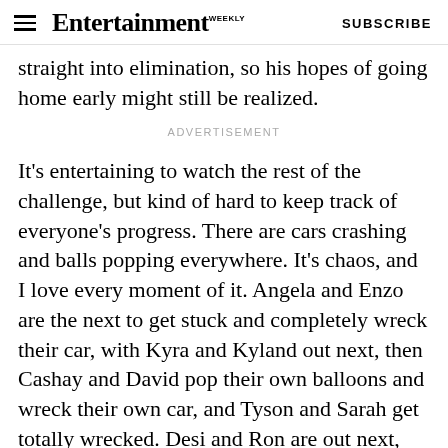Entertainment Weekly — SUBSCRIBE
straight into elimination, so his hopes of going home early might still be realized.
ADVERTISEMENT
It's entertaining to watch the rest of the challenge, but kind of hard to keep track of everyone's progress. There are cars crashing and balls popping everywhere. It's chaos, and I love every moment of it. Angela and Enzo are the next to get stuck and completely wreck their car, with Kyra and Kyland out next, then Cashay and David pop their own balloons and wreck their own car, and Tyson and Sarah get totally wrecked. Desi and Ron are out next, leaving only Justina and